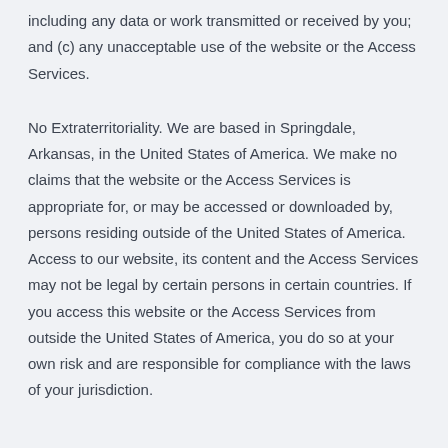including any data or work transmitted or received by you; and (c) any unacceptable use of the website or the Access Services.
No Extraterritoriality. We are based in Springdale, Arkansas, in the United States of America. We make no claims that the website or the Access Services is appropriate for, or may be accessed or downloaded by, persons residing outside of the United States of America. Access to our website, its content and the Access Services may not be legal by certain persons in certain countries. If you access this website or the Access Services from outside the United States of America, you do so at your own risk and are responsible for compliance with the laws of your jurisdiction.